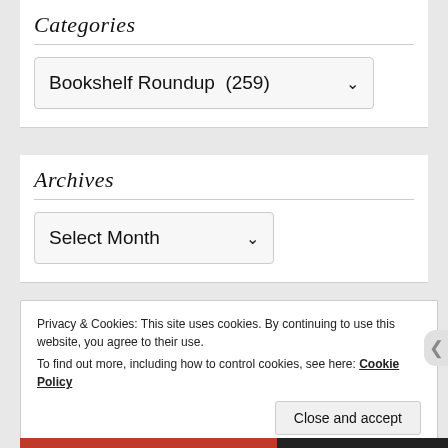Categories
Bookshelf Roundup  (259)
Archives
Select Month
Privacy & Cookies: This site uses cookies. By continuing to use this website, you agree to their use.
To find out more, including how to control cookies, see here: Cookie Policy
Close and accept